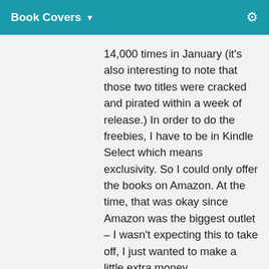Book Covers ▼
14,000 times in January (it's also interesting to note that those two titles were cracked and pirated within a week of release.) In order to do the freebies, I have to be in Kindle Select which means exclusivity. So I could only offer the books on Amazon. At the time, that was okay since Amazon was the biggest outlet – I wasn't expecting this to take off, I just wanted to make a little extra money.
I then went on to release the other novels I had completed.